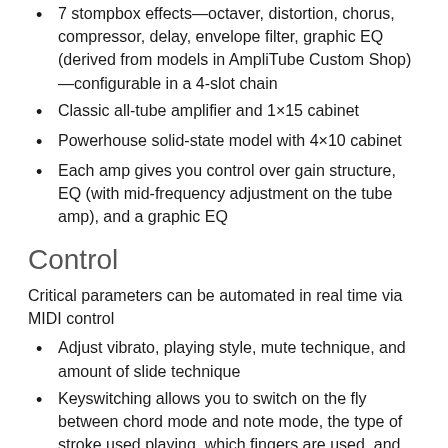7 stompbox effects—octaver, distortion, chorus, compressor, delay, envelope filter, graphic EQ (derived from models in AmpliTube Custom Shop)—configurable in a 4-slot chain
Classic all-tube amplifier and 1×15 cabinet
Powerhouse solid-state model with 4×10 cabinet
Each amp gives you control over gain structure, EQ (with mid-frequency adjustment on the tube amp), and a graphic EQ
Control
Critical parameters can be automated in real time via MIDI control
Adjust vibrato, playing style, mute technique, and amount of slide technique
Keyswitching allows you to switch on the fly between chord mode and note mode, the type of stroke used playing, which fingers are used, and which method of playing is used
Full MIDI control with MIDI learn